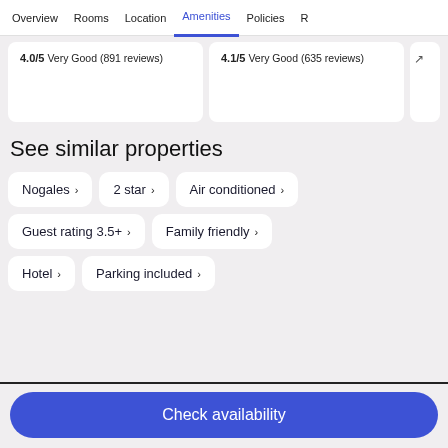Overview  Rooms  Location  Amenities  Policies  R
4.0/5 Very Good (891 reviews)
4.1/5 Very Good (635 reviews)
See similar properties
Nogales ›
2 star ›
Air conditioned ›
Guest rating 3.5+ ›
Family friendly ›
Hotel ›
Parking included ›
Check availability